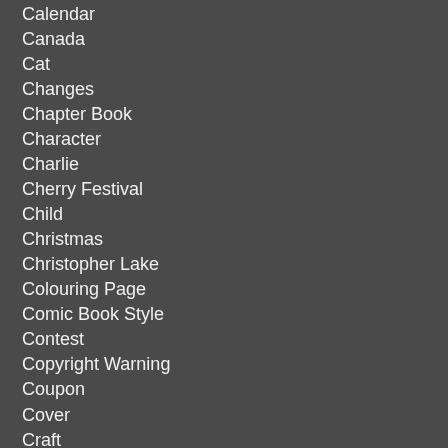Calendar
Canada
Cat
Changes
Chapter Book
Character
Charlie
Cherry Festival
Child
Christmas
Christopher Lake
Colouring Page
Comic Book Style
Contest
Copyright Warning
Coupon
Cover
Craft
Craft Time
Createspace
Cudworth